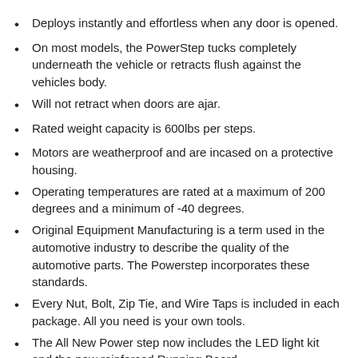Deploys instantly and effortless when any door is opened.
On most models, the PowerStep tucks completely underneath the vehicle or retracts flush against the vehicles body.
Will not retract when doors are ajar.
Rated weight capacity is 600lbs per steps.
Motors are weatherproof and are incased on a protective housing.
Operating temperatures are rated at a maximum of 200 degrees and a minimum of -40 degrees.
Original Equipment Manufacturing is a term used in the automotive industry to describe the quality of the automotive parts. The Powerstep incorporates these standards.
Every Nut, Bolt, Zip Tie, and Wire Taps is included in each package. All you need is your own tools.
The All New Power step now includes the LED light kit and the new reinforced Running Board.
The Amp Research Powerstep is the new standard for quality running boards and has been proven with over 10